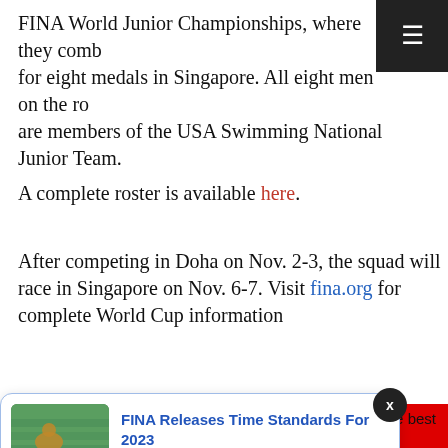FINA World Junior Championships, where they comb for eight medals in Singapore. All eight men on the ro are members of the USA Swimming National Junior Team.
A complete roster is available here.
After competing in Doha on Nov. 2-3, the squad will race in Singapore on Nov. 6-7. Visit fina.org for complete World Cup information
ADVERTISEMENT
[Figure (screenshot): Notification card showing 'FINA Releases Time Standards For 2023' with a swimming image thumbnail and '18 hours ago' timestamp, with an X close button and red promo bar visible]